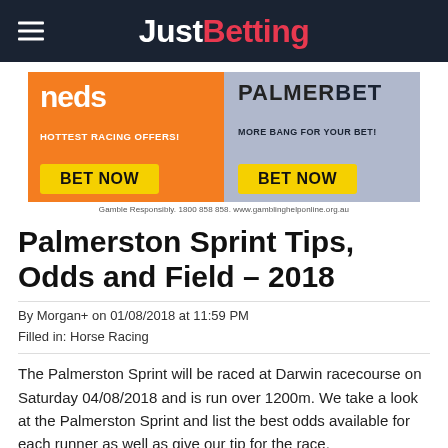JustBetting
[Figure (screenshot): Advertisement banner with two bookmakers: 'neds' (orange background, HOTTEST RACING OFFERS!, BET NOW button) and 'PALMERBET' (grey/blue background, MORE BANG FOR YOUR BET!, BET NOW button). Footer: Gamble Responsibly. 1800 858 858. www.gamblinghelponline.org.au]
Palmerston Sprint Tips, Odds and Field – 2018
By Morgan+ on 01/08/2018 at 11:59 PM
Filled in: Horse Racing
The Palmerston Sprint will be raced at Darwin racecourse on Saturday 04/08/2018 and is run over 1200m. We take a look at the Palmerston Sprint and list the best odds available for each runner as well as give our tip for the race.